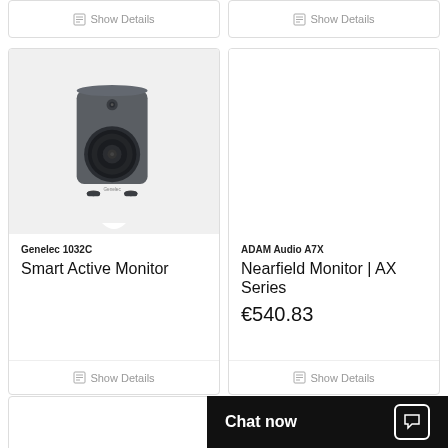Show Details
Show Details
[Figure (photo): Genelec 1032C studio monitor speaker, dark gray, shown from front angle on light gray background]
Genelec 1032C
Smart Active Monitor
Show Details
[Figure (photo): ADAM Audio A7X product image area (white/empty)]
ADAM Audio A7X
Nearfield Monitor | AX Series
€540.83
Show Details
Chat now